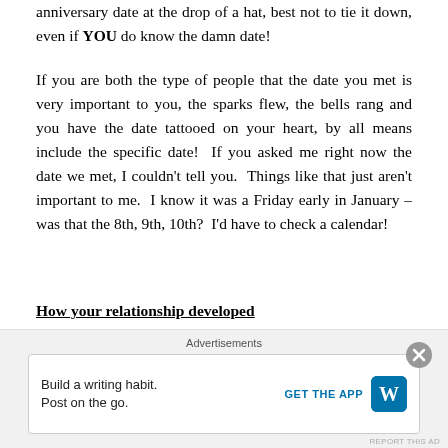anniversary date at the drop of a hat, best not to tie it down, even if YOU do know the damn date!
If you are both the type of people that the date you met is very important to you, the sparks flew, the bells rang and you have the date tattooed on your heart, by all means include the specific date!  If you asked me right now the date we met, I couldn't tell you.  Things like that just aren't important to me.  I know it was a Friday early in January – was that the 8th, 9th, 10th?  I'd have to check a calendar!
How your relationship developed
That should be the easiest part!  Pretend you are telling your best friend you haven't seen for a while about ho
Advertisements
Build a writing habit.
Post on the go.
GET THE APP